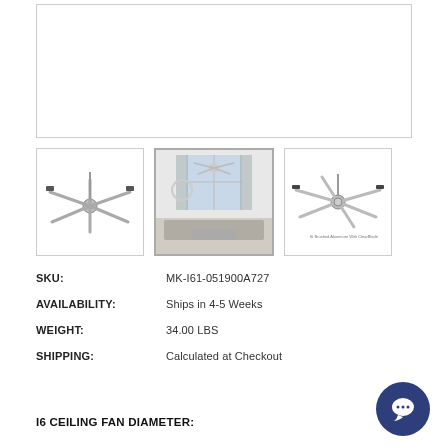[Figure (photo): Large main product image area (white/empty box) for ceiling fan]
[Figure (photo): Thumbnail 1: Ceiling fan product shot, 6 blades, white background]
[Figure (photo): Thumbnail 2: Living room interior with ceiling fan installed on ceiling]
[Figure (photo): Thumbnail 3: Ceiling fan product shot angled view with text label]
SKU: MK-I61-051900A727
AVAILABILITY: Ships in 4-5 Weeks
WEIGHT: 34.00 LBS
SHIPPING: Calculated at Checkout
I6 CEILING FAN DIAMETER: